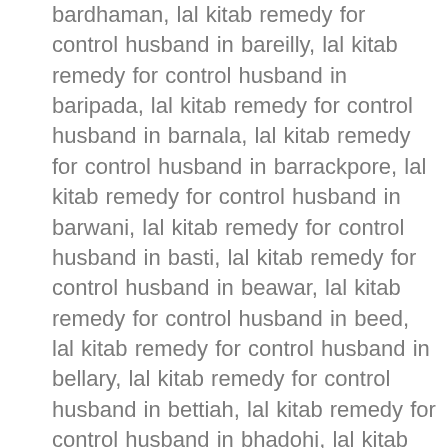bardhaman, lal kitab remedy for control husband in bareilly, lal kitab remedy for control husband in baripada, lal kitab remedy for control husband in barnala, lal kitab remedy for control husband in barrackpore, lal kitab remedy for control husband in barwani, lal kitab remedy for control husband in basti, lal kitab remedy for control husband in beawar, lal kitab remedy for control husband in beed, lal kitab remedy for control husband in bellary, lal kitab remedy for control husband in bettiah, lal kitab remedy for control husband in bhadohi, lal kitab remedy for control husband in bhadrak, lal kitab remedy for control husband in bhagalpur, lal kitab remedy for control husband in bharatpur, lal kitab remedy for control husband in bharuch, lal kitab remedy for control husband in bhavnagar, lal kitab remedy for control husband in bhilai, lal kitab remedy for control husband in bhilwara, lal kitab remedy for control husband in bhind, lal kitab remedy for control husband in bhiwani, lal kitab remedy for control husband in bhopal, lal kitab remedy for control husband in bhubaneshwar, lal kitab remedy for control husband in bhuj, lal kitab remedy for control husband in bidar, lal kitab remedy